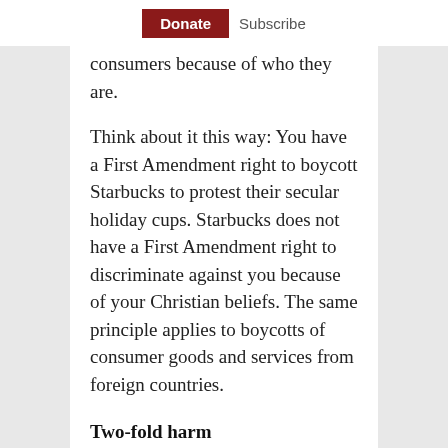Donate  Subscribe
consumers because of who they are.
Think about it this way: You have a First Amendment right to boycott Starbucks to protest their secular holiday cups. Starbucks does not have a First Amendment right to discriminate against you because of your Christian beliefs. The same principle applies to boycotts of consumer goods and services from foreign countries.
Two-fold harm
When the government cynically asserts an antidiscrimination